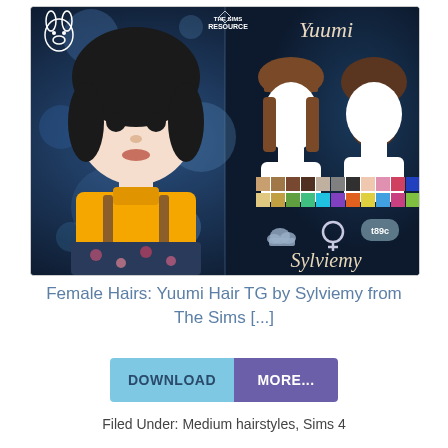[Figure (photo): Preview image for Yuumi Hair TG by Sylviemy from The Sims Resource. Left side shows a Sims toddler character with black bob hair wearing a yellow sweater and floral overalls against a blue bokeh background. Right side shows hair reference silhouettes (front and back views) in brown, a color swatch grid, female gender symbol, age icon (t89c), and the creator name 'Sylviemy' in script text. Top left has a rabbit logo, top center has 'THE SIMS RESOURCE' logo. Right top has 'Yuumi' in script text.]
Female Hairs: Yuumi Hair TG by Sylviemy from The Sims [...]
DOWNLOAD   MORE...
Filed Under: Medium hairstyles, Sims 4